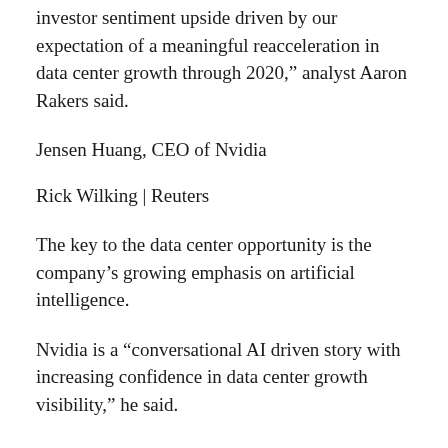investor sentiment upside driven by our expectation of a meaningful reacceleration in data center growth through 2020,” analyst Aaron Rakers said.
Jensen Huang, CEO of Nvidia
Rick Wilking | Reuters
The key to the data center opportunity is the company’s growing emphasis on artificial intelligence.
Nvidia is a “conversational AI driven story with increasing confidence in data center growth visibility,” he said.
The stock is up almost 80% year-to-date.
Another stock to watch in 2020 is The Trade Desk,